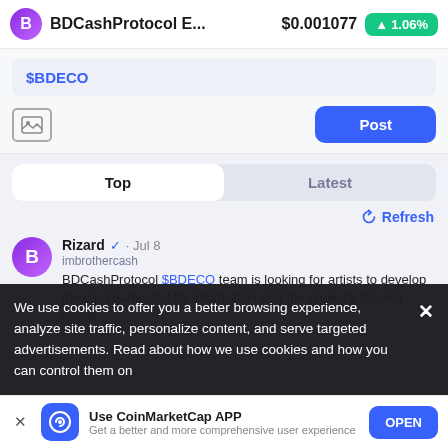BDCashProtocol E... $0.001077 ▲1.06%
$BDECO
Post
Top | Latest
🔄 Refresh
Rizard ✓ · Jul 8
imbrothercash
BDCashProtocol $BDECO team is looking for artists to develop the card game, but for information visit the project's discord server
We use cookies to offer you a better browsing experience, analyze site traffic, personalize content, and serve targeted advertisements. Read about how we use cookies and how you can control them on
Use CoinMarketCap APP
Get a better and more comprehensive user experience